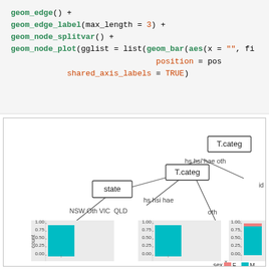geom_edge() +
geom_edge_label(max_length = 3) +
geom_node_splitvar() +
geom_node_plot(gglist = list(geom_bar(aes(x = "", fi
                               position = pos
            shared_axis_labels = TRUE)
[Figure (other): A tree/dendrogram visualization showing nodes labeled with variable names (state, T.categ) and edges connecting them. Leaf nodes show bar charts with y-axis labeled 'count' (0.00 to 1.00) and x-axis showing sex categories (F, M) with colors salmon/teal. The tree shows splits: state (NSW, Oth, VIC, QLD), T.categ (hs, hsi, hae), and another T.categ and id branch. A legend shows sex: F (salmon) and M (teal).]